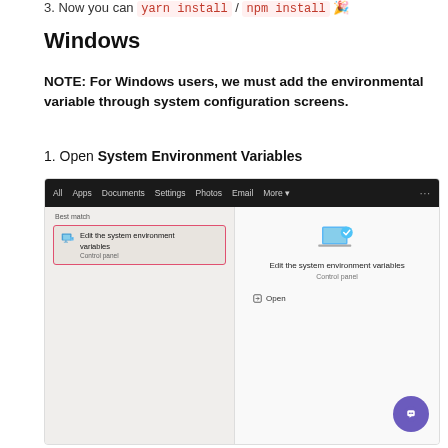3. Now you can yarn install / npm install 🎉
Windows
NOTE: For Windows users, we must add the environmental variable through system configuration screens.
1. Open System Environment Variables
[Figure (screenshot): Windows 10 search result showing 'Edit the system environment variables' in the Control Panel, with a pink/red border highlight around the search result item on the left panel, and the app details shown on the right panel with an Open button. A purple chat widget button is visible in the bottom-right corner.]